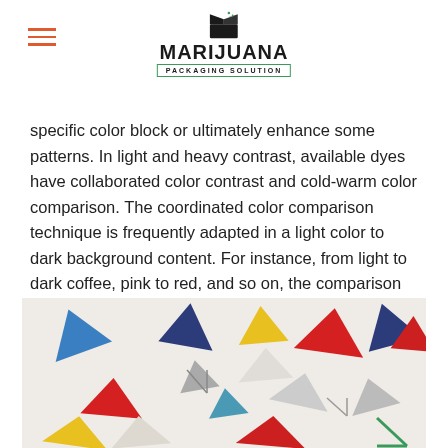MARIJUANA PACKAGING SOLUTION
specific color block or ultimately enhance some patterns. In light and heavy contrast, available dyes have collaborated color contrast and cold-warm color comparison. The coordinated color comparison technique is frequently adapted in a light color to dark background content. For instance, from light to dark coffee, pink to red, and so on, the comparison of cozy and chilly shades is mostly Black and white, red and even blue, etc.
[Figure (photo): A scattered arrangement of colorful paper triangles (blue, dark blue, yellow, red, gray, white) on a light beige/white background]